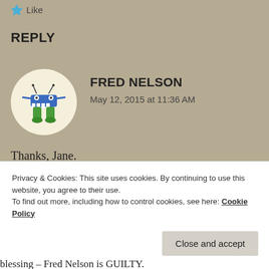Like
REPLY
[Figure (illustration): Circular avatar with cartoon monster character — blue creature with green legs and a wide mouth, on cream background]
FRED NELSON
May 12, 2015 at 11:36 AM
Thanks, Jane.
Barrett, agreed. You have only my word to go on. I will point out that I have been above board with my feelings and have taken responsibility for my ill
Privacy & Cookies: This site uses cookies. By continuing to use this website, you agree to their use.
To find out more, including how to control cookies, see here: Cookie Policy
Close and accept
blessing – Fred Nelson is GUILTY.